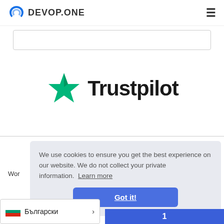[Figure (logo): DEVOP.ONE logo with circular arrow icon in blue on the left, hamburger menu icon on the right]
[Figure (logo): Trustpilot logo: green star followed by 'Trustpilot' text in dark color]
We use cookies to ensure you get the best experience on our website. We do not collect your private information. Learn more
Got it!
Wor
Български >